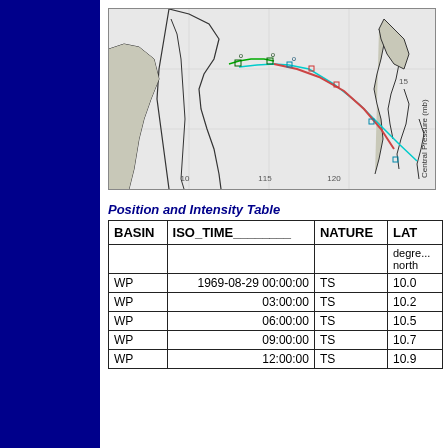[Figure (map): Tropical cyclone track map showing storm path across the South China Sea and Philippine Sea region, with colored track lines (green, cyan, red/brown) and position markers overlaid on a geographic map with coastlines and grid lines.]
Position and Intensity Table
| BASIN | ISO_TIME | NATURE | LAT |
| --- | --- | --- | --- |
|  |  |  | degrees north |
| WP | 1969-08-29 00:00:00 | TS | 10.0 |
| WP | 03:00:00 | TS | 10.2 |
| WP | 06:00:00 | TS | 10.5 |
| WP | 09:00:00 | TS | 10.7 |
| WP | 12:00:00 | TS | 10.9 |